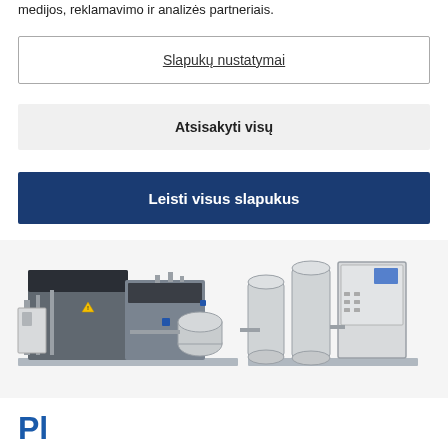medijos, reklamavimo ir analizės partneriais.
Slapukų nustatymai
Atsisakyti visų
Leisti visus slapukus
[Figure (photo): Industrial machinery/compressor skid unit with pipes, tanks, electrical cabinet and control panel on a platform base]
Pl...